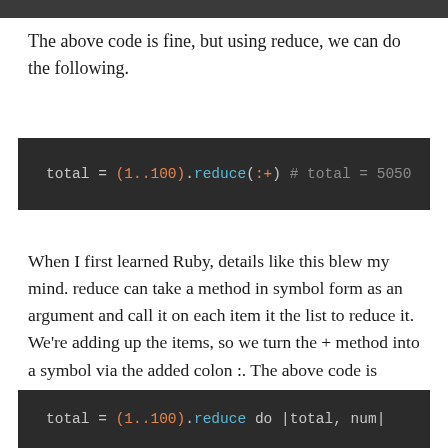The above code is fine, but using reduce, we can do the following.
[Figure (screenshot): Code block on dark background: total = (1..100).reduce(:+) # total = 5050]
When I first learned Ruby, details like this blew my mind. reduce can take a method in symbol form as an argument and call it on each item it the list to reduce it. We're adding up the items, so we turn the + method into a symbol via the added colon :. The above code is shorthand for the following.
[Figure (screenshot): Code block on dark background: total = (1..100).reduce do |total, num|]